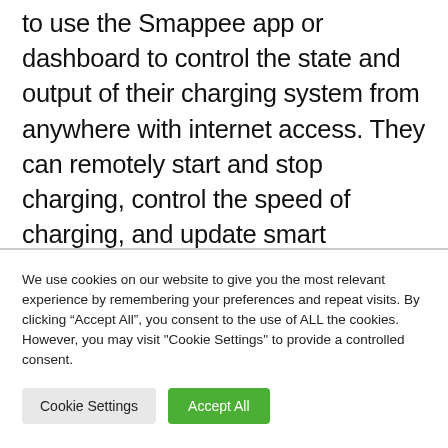to use the Smappee app or dashboard to control the state and output of their charging system from anywhere with internet access. They can remotely start and stop charging, control the speed of charging, and update smart charging schedules to run at optimal times. The Smappee app is intuitive and designed to support both simple and advanced customisation.
We use cookies on our website to give you the most relevant experience by remembering your preferences and repeat visits. By clicking “Accept All”, you consent to the use of ALL the cookies. However, you may visit "Cookie Settings" to provide a controlled consent.